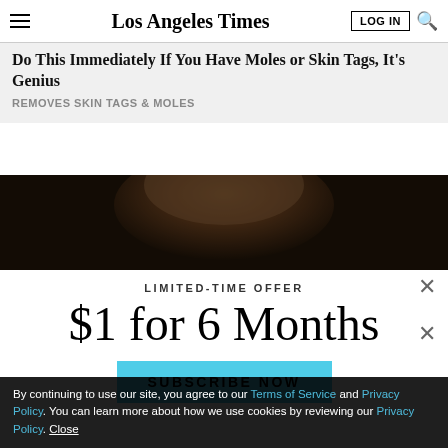Los Angeles Times
Do This Immediately If You Have Moles or Skin Tags, It's Genius
REMOVES SKIN TAGS & MOLES
[Figure (photo): Close-up dark photo of a person's head/hair in muted brown tones]
LIMITED-TIME OFFER
$1 for 6 Months
SUBSCRIBE NOW
By continuing to use our site, you agree to our Terms of Service and Privacy Policy. You can learn more about how we use cookies by reviewing our Privacy Policy. Close